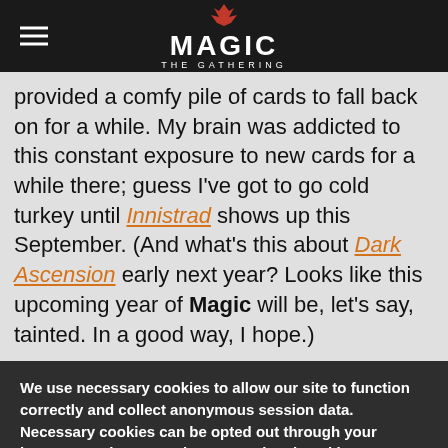MAGIC THE GATHERING
provided a comfy pile of cards to fall back on for a while. My brain was addicted to this constant exposure to new cards for a while there; guess I've got to go cold turkey until Innistrad shows up this September. (And what's this about Dark Ascension early next year? Looks like this upcoming year of Magic will be, let's say, tainted. In a good way, I hope.)
We use necessary cookies to allow our site to function correctly and collect anonymous session data. Necessary cookies can be opted out through your browser settings. We also use optional cookies to personalize content and ads, provide social medial features and analyze web traffic. By clicking “OK, I agree,” you consent to optional cookies. (Learn more about cookies.)